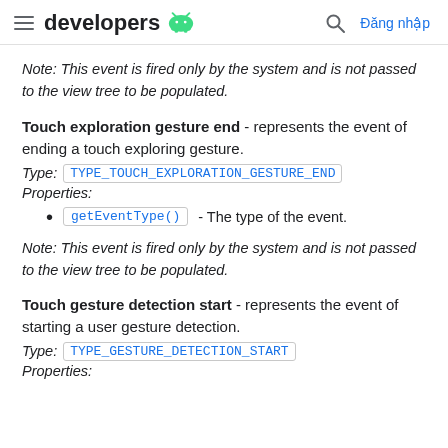developers [android icon] | Đăng nhập
Note: This event is fired only by the system and is not passed to the view tree to be populated.
Touch exploration gesture end - represents the event of ending a touch exploring gesture.
Type: TYPE_TOUCH_EXPLORATION_GESTURE_END
Properties:
getEventType() - The type of the event.
Note: This event is fired only by the system and is not passed to the view tree to be populated.
Touch gesture detection start - represents the event of starting a user gesture detection.
Type: TYPE_GESTURE_DETECTION_START
Properties: